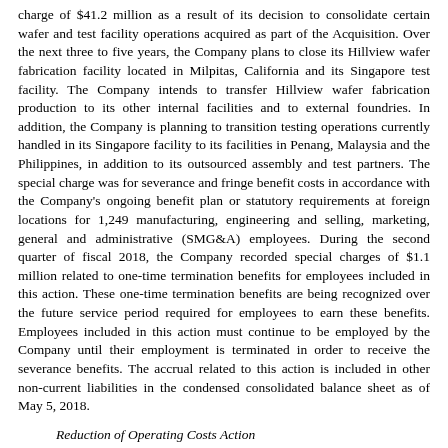charge of $41.2 million as a result of its decision to consolidate certain wafer and test facility operations acquired as part of the Acquisition. Over the next three to five years, the Company plans to close its Hillview wafer fabrication facility located in Milpitas, California and its Singapore test facility. The Company intends to transfer Hillview wafer fabrication production to its other internal facilities and to external foundries. In addition, the Company is planning to transition testing operations currently handled in its Singapore facility to its facilities in Penang, Malaysia and the Philippines, in addition to its outsourced assembly and test partners. The special charge was for severance and fringe benefit costs in accordance with the Company's ongoing benefit plan or statutory requirements at foreign locations for 1,249 manufacturing, engineering and selling, marketing, general and administrative (SMG&A) employees. During the second quarter of fiscal 2018, the Company recorded special charges of $1.1 million related to one-time termination benefits for employees included in this action. These one-time termination benefits are being recognized over the future service period required for employees to earn these benefits. Employees included in this action must continue to be employed by the Company until their employment is terminated in order to receive the severance benefits. The accrual related to this action is included in other non-current liabilities in the condensed consolidated balance sheet as of May 5, 2018.
Reduction of Operating Costs Action
During the second quarter of the fiscal year ended October 29, 2016 (fiscal 2016), the Company recorded special charges of approximately $13.7 million for severance and fringe benefit costs in accordance with the Company's ongoing benefit plan for 123 manufacturing, engineering and SMG&A employees. As of May 5, 2018, the Company still employed 5 of the 123 employees included in this cost reduction action. These employees must